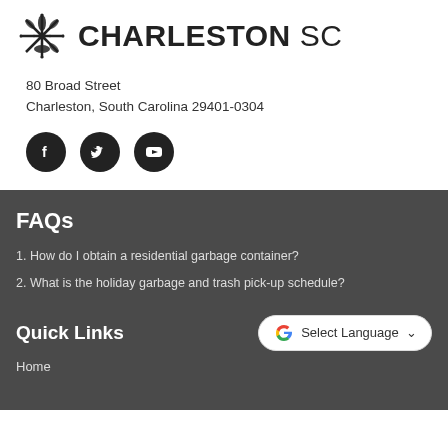[Figure (logo): City of Charleston SC logo with decorative leaf/snowflake icon on left and bold text CHARLESTON SC on right]
80 Broad Street
Charleston, South Carolina 29401-0304
[Figure (illustration): Three dark circular social media icons: Facebook, Twitter, YouTube]
FAQs
1. How do I obtain a residential garbage container?
2. What is the holiday garbage and trash pick-up schedule?
Quick Links
[Figure (other): Google Translate button with G logo and Select Language dropdown]
Home